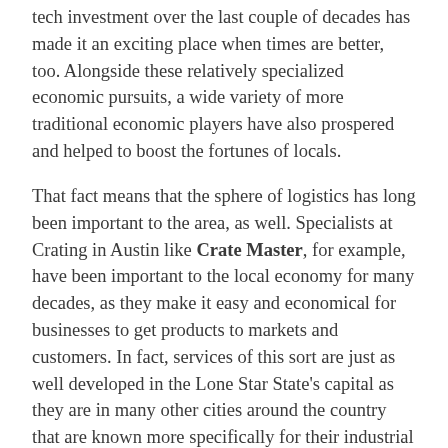tech investment over the last couple of decades has made it an exciting place when times are better, too. Alongside these relatively specialized economic pursuits, a wide variety of more traditional economic players have also prospered and helped to boost the fortunes of locals.
That fact means that the sphere of logistics has long been important to the area, as well. Specialists at Crating in Austin like Crate Master, for example, have been important to the local economy for many decades, as they make it easy and economical for businesses to get products to markets and customers. In fact, services of this sort are just as well developed in the Lone Star State's capital as they are in many other cities around the country that are known more specifically for their industrial output. That is an impressive achievement given how much else Austin residents have to brag about.
Finding excellent, reliable providers of Crating in Austin, then, rarely requires more than a quick trip to the Internet or a phone book, for those who still own them. One local junkyard, for example, has